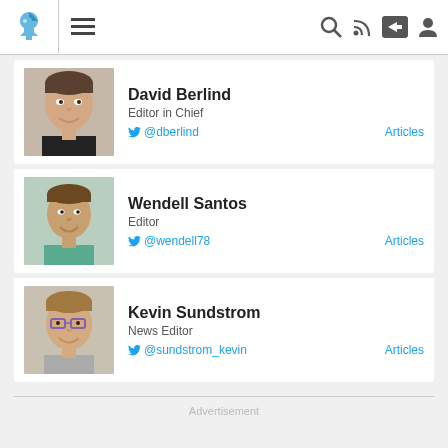Navigation bar with logo, menu, search, RSS, share, and user icons
[Figure (photo): Headshot of David Berlind, middle-aged man smiling]
David Berlind
Editor in Chief
@dberlind   Articles
[Figure (photo): Headshot of Wendell Santos, young man smiling]
Wendell Santos
Editor
@wendell78   Articles
[Figure (photo): Headshot of Kevin Sundstrom, man with glasses smiling]
Kevin Sundstrom
News Editor
@sundstrom_kevin   Articles
Advertisement